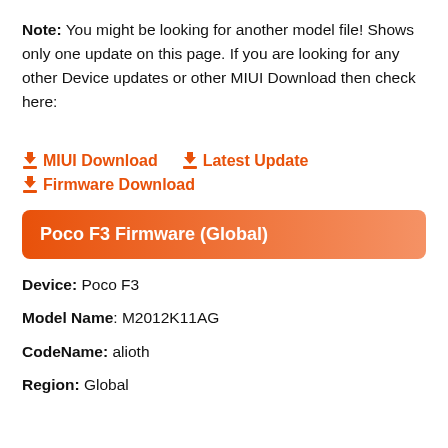Note: You might be looking for another model file! Shows only one update on this page. If you are looking for any other Device updates or other MIUI Download then check here:
MIUI Download   Latest Update   Firmware Download
Poco F3 Firmware (Global)
Device:  Poco F3
Model Name: M2012K11AG
CodeName: alioth
Region: Global